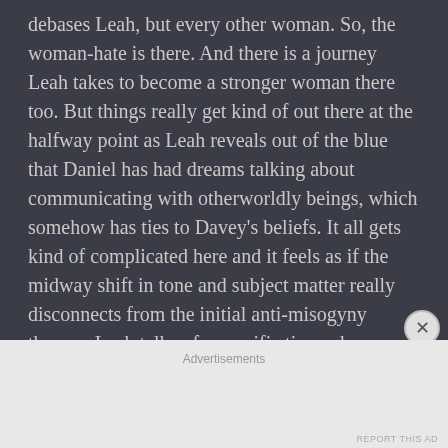debases Leah, but every other woman. So, the woman-hate is there. And there is a journey Leah takes to become a stronger woman there too. But things really get kind of out there at the halfway point as Leah reveals out of the blue that Daniel has had dreams talking about communicating with otherworldly beings, which somehow has ties to Davey's beliefs. It all gets kind of complicated here and it feels as if the midway shift in tone and subject matter really disconnects from the initial anti-misogyny themes. Leah talks of a specific time when Daniel talks in his sleep and has a nightmare and I think the film would have benefitted from actually seeing that scene, rather than just referring to it the
Advertisements